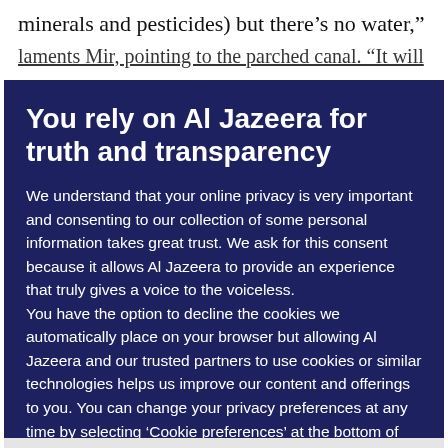minerals and pesticides) but there’s no water,”
laments Mir, pointing to the parched canal. “It will
You rely on Al Jazeera for truth and transparency
We understand that your online privacy is very important and consenting to our collection of some personal information takes great trust. We ask for this consent because it allows Al Jazeera to provide an experience that truly gives a voice to the voiceless.
You have the option to decline the cookies we automatically place on your browser but allowing Al Jazeera and our trusted partners to use cookies or similar technologies helps us improve our content and offerings to you. You can change your privacy preferences at any time by selecting ‘Cookie preferences’ at the bottom of your screen. To learn more, please view our Cookie Policy.